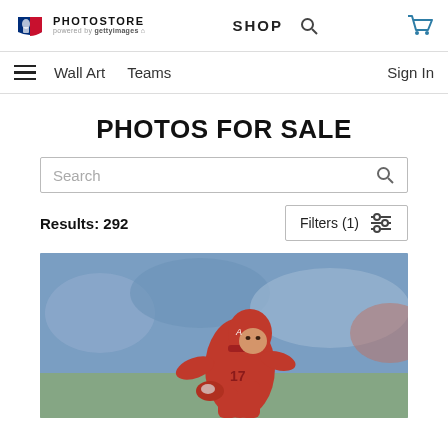MLB PHOTOSTORE — powered by Getty Images | SHOP
Wall Art  Teams  Sign In
PHOTOS FOR SALE
Search
Results: 292
Filters (1)
[Figure (photo): Baseball player in red Angels uniform #17 running on the field, with crowd in background]